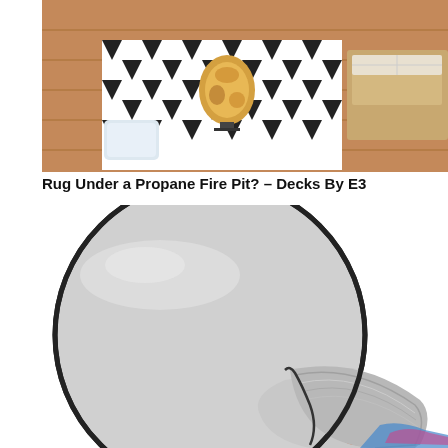[Figure (photo): Outdoor patio scene with a black and white geometric rug, a decorative wicker fire pit/vase centerpiece, wicker outdoor furniture with cushions, and a wooden deck.]
Rug Under a Propane Fire Pit? – Decks By E3
[Figure (photo): A large round fire-resistant mat/pad shown peeled back to reveal a silver/foil heat-resistant underside, with flames visible underneath. The mat has a dark border and light gray top surface.]